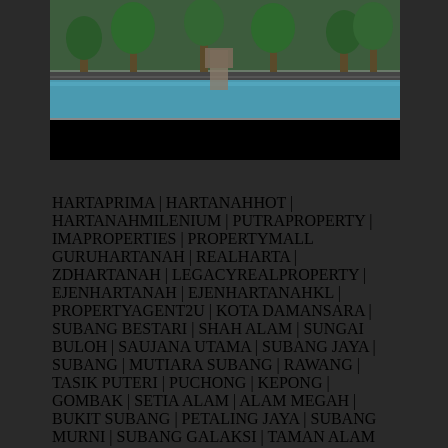[Figure (photo): Photograph of a swimming pool area with palm trees and greenery, with a black bar below]
HARTAPRIMA | HARTANAHHOT | HARTANAHMILENIUM | PUTRAPROPERTY | IMAPROPERTIES | PROPERTYMALL GURUHARTANAH | REALHARTA | ZDHARTANAH | LEGACYREALPROPERTY | EJENHARTANAH | EJENHARTANAHKL | PROPERTYAGENT2U | KOTA DAMANSARA | SUBANG BESTARI | SHAH ALAM | SUNGAI BULOH | SAUJANA UTAMA | SUBANG JAYA | SUBANG | MUTIARA SUBANG | RAWANG | TASIK PUTERI | PUCHONG | KEPONG | GOMBAK | SETIA ALAM | ALAM MEGAH | BUKIT SUBANG | PETALING JAYA | SUBANG MURNI | SUBANG GALAKSI | TAMAN ALAM PERDANA | SELAYANG | SETIAWANGSA | CHERAS | KLANG | PUNCAK ALAM | UKAY PERDANA | DESA COALFIELD | BANDAR PINGGIRAN SUBANG | KINRARA | SEPANG | SERI KEMBANGAN | BANGI | KAJANG | PUTRAJAYA | DENAI ALAM | BUKIT JELUTONG |